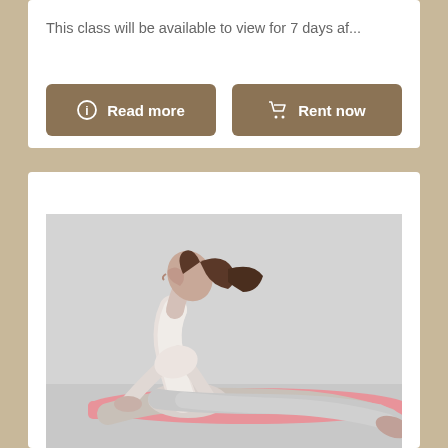This class will be available to view for 7 days af...
Read more
Rent now
[Figure (photo): Woman in white athletic wear performing a yoga cobra/upward dog pose on a pink yoga mat against a light grey background]